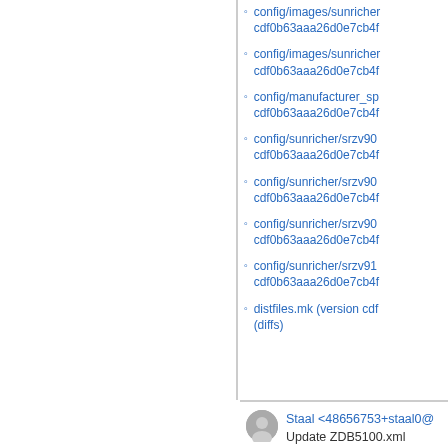config/images/sunricher cdf0b63aaa26d0e7cb4f
config/images/sunricher cdf0b63aaa26d0e7cb4f
config/manufacturer_sp cdf0b63aaa26d0e7cb4f
config/sunricher/srzv90 cdf0b63aaa26d0e7cb4f
config/sunricher/srzv90 cdf0b63aaa26d0e7cb4f
config/sunricher/srzv90 cdf0b63aaa26d0e7cb4f
config/sunricher/srzv91 cdf0b63aaa26d0e7cb4f
distfiles.mk (version cdf (diffs)
Staal <48656753+staal0@
Update ZDB5100.xml
According to: https://github
Level up your DevOps kung fu with Bamboo, the Continuous Delivery tool for Jira teams. (Free open source license for DynamX)